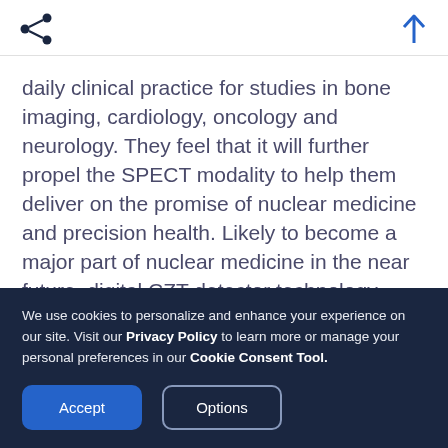[share icon] [up arrow icon]
daily clinical practice for studies in bone imaging, cardiology, oncology and neurology. They feel that it will further propel the SPECT modality to help them deliver on the promise of nuclear medicine and precision health. Likely to become a major part of nuclear medicine in the near future, digital CZT detector technology capitalizes on improved sensitivity, spatial and energy resolution coming
We use cookies to personalize and enhance your experience on our site. Visit our Privacy Policy to learn more or manage your personal preferences in our Cookie Consent Tool.
Accept | Options